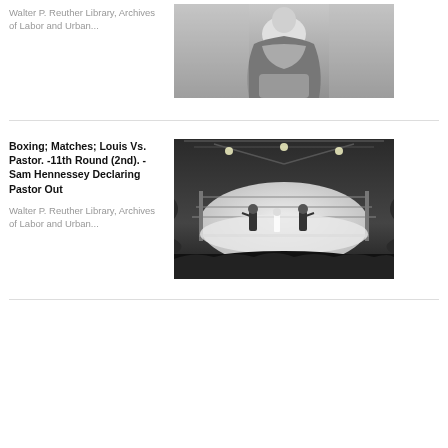Walter P. Reuther Library, Archives of Labor and Urban...
[Figure (photo): Black and white photo of a person from behind, wearing a sash or cape]
Boxing; Matches; Louis Vs. Pastor. -11th Round (2nd). -Sam Hennessey Declaring Pastor Out
Walter P. Reuther Library, Archives of Labor and Urban...
[Figure (photo): Black and white photo of a boxing match in a ring with audience]